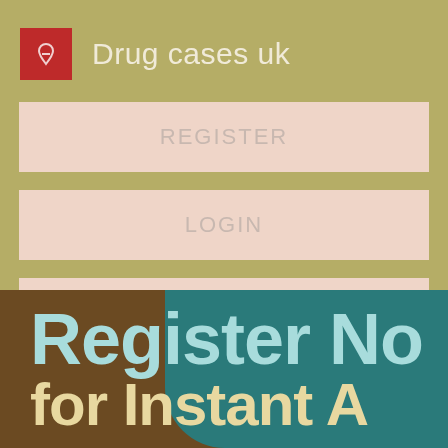Drug cases uk
REGISTER
LOGIN
CONTACT US
[Figure (screenshot): Partial view of a web page with brown/teal background showing large text 'Register No' and 'for Instant A' (truncated)]